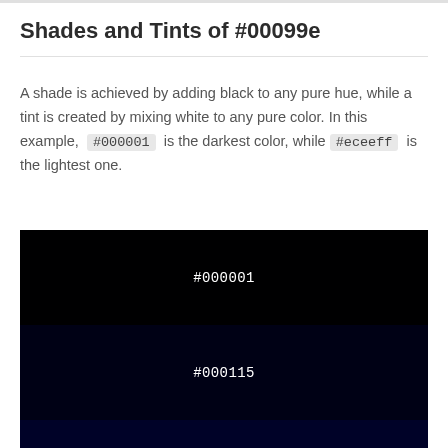Shades and Tints of #00099e
A shade is achieved by adding black to any pure hue, while a tint is created by mixing white to any pure color. In this example, #000001 is the darkest color, while #eceeff is the lightest one.
[Figure (infographic): Vertical stack of color swatches showing shades from darkest to lightest, with hex labels: #000001, #000115, #000228, #00033c, #000550]